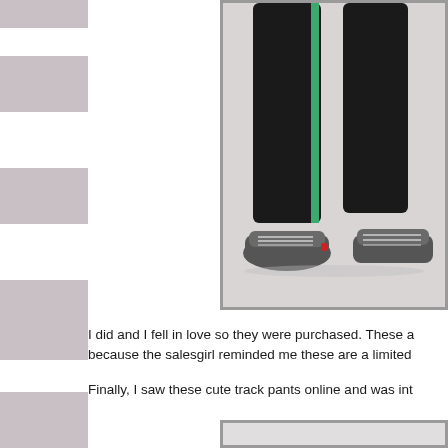[Figure (photo): Lower half of a person wearing black capri athletic leggings with a green stripe detail and grey athletic sneakers, standing on a light grey background. Photo framed with grey border.]
I did and I fell in love so they were purchased. These a because the salesgirl reminded me these are a limited
Finally, I saw these cute track pants online and was int
[Figure (photo): Partial view of a second photo, cropped at bottom of page.]